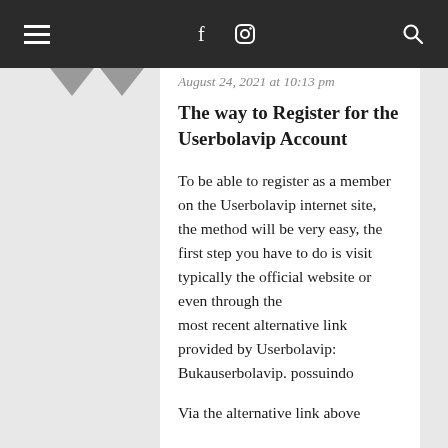≡  f  [instagram]  Q
August 24, 2021 at 10:13 pm
The way to Register for the Userbolavip Account
To be able to register as a member on the Userbolavip internet site, the method will be very easy, the first step you have to do is visit typically the official website or even through the most recent alternative link provided by Userbolavip: Bukauserbolavip. possuindo
Via the alternative link above